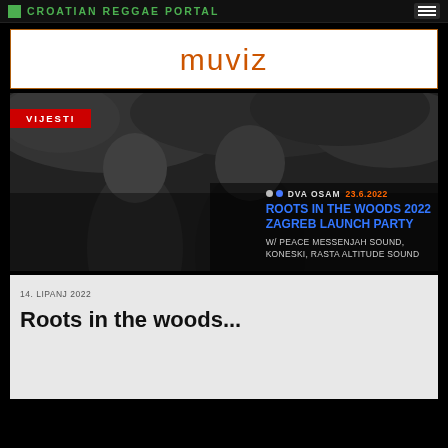CROATIAN REGGAE PORTAL
[Figure (logo): Muviz logo on white background with orange/amber border]
VIJESTI
[Figure (photo): Black and white photo of two men with long hair standing among foliage. Overlay text: DVA OSAM 23.6.2022 - ROOTS IN THE WOODS 2022 ZAGREB LAUNCH PARTY w/ PEACE MESSENJAH SOUND, KONESKI, RASTA ALTITUDE SOUND]
14. LIPANJ 2022
Roots in the woods...